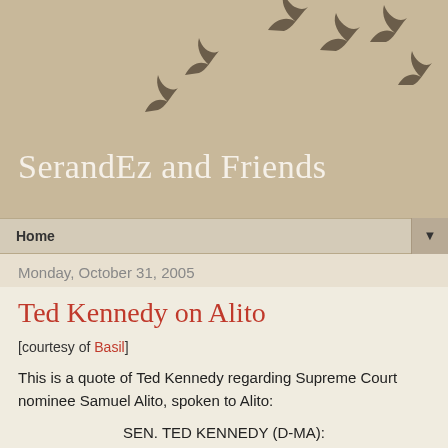[Figure (illustration): Blog header with tan/beige background and flying birds silhouettes in dark brownish-gray forming an arc pattern]
SerandEz and Friends
Home ▼
Monday, October 31, 2005
Ted Kennedy on Alito
[courtesy of Basil]
This is a quote of Ted Kennedy regarding Supreme Court nominee Samuel Alito, spoken to Alito:
SEN. TED KENNEDY (D-MA):
“You Have Obviously Had A Very